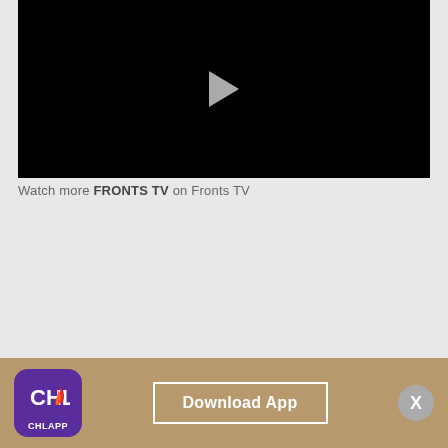[Figure (screenshot): Black video player with a white play button triangle in the center]
Watch more FRONTS TV on Fronts TV
[Figure (infographic): App download banner with CHL App icon (purple background with flame logo), Download App button with white border, and X close button on gold/tan background]